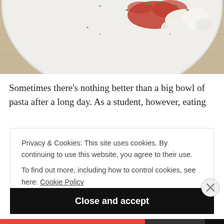[Figure (photo): Close-up photo of a white plate with food — appears to be pasta with ricotta or white cheese and herbs, on a wooden table background. Top portion of the plate is visible.]
Sometimes there's nothing better than a big bowl of pasta after a long day. As a student, however, eating
Privacy & Cookies: This site uses cookies. By continuing to use this website, you agree to their use.
To find out more, including how to control cookies, see here: Cookie Policy
Close and accept